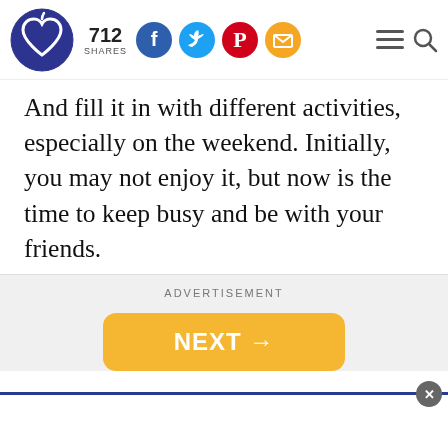712 SHARES [social icons: Facebook, Twitter, Pinterest, Email] [menu] [search]
And fill it in with different activities, especially on the weekend. Initially, you may not enjoy it, but now is the time to keep busy and be with your friends.
ADVERTISEMENT
[Figure (other): Yellow NEXT → button]
[Figure (other): Bottom advertisement bar with close button]